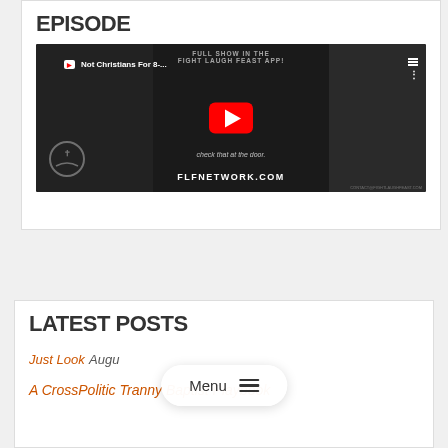EPISODE
[Figure (screenshot): YouTube video thumbnail showing 'Not Christians For 8-...' with red play button, dark background with two men visible, text 'FULL SHOW IN THE FIGHT LAUGH FEAST APP!', subtitle 'check that at the door.' and 'FLFNETWORK.COM']
LATEST POSTS
Just Look August
A CrossPolitic Tranny Baptist Playbook
Menu